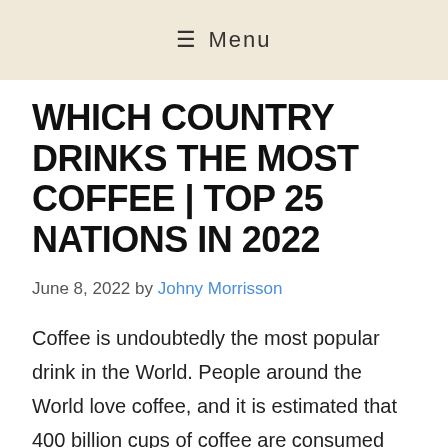≡ Menu
WHICH COUNTRY DRINKS THE MOST COFFEE | TOP 25 NATIONS IN 2022
June 8, 2022 by Johny Morrisson
Coffee is undoubtedly the most popular drink in the World. People around the World love coffee, and it is estimated that 400 billion cups of coffee are consumed each